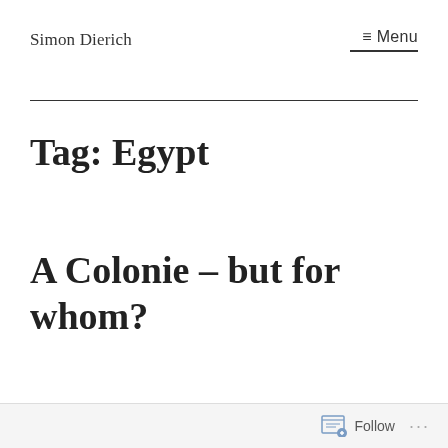Simon Dierich
≡ Menu
Tag: Egypt
A Colonie – but for whom?
Follow ...